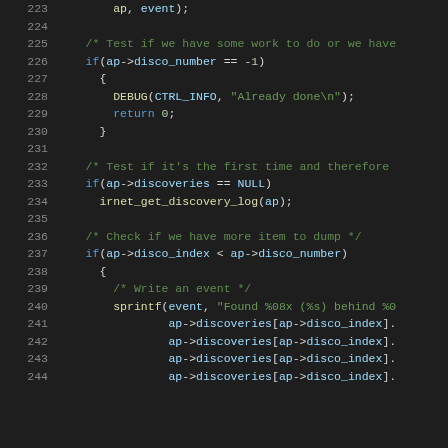[Figure (screenshot): Source code listing lines 223-244, C code with syntax highlighting on dark background showing IrDA/network discovery logic]